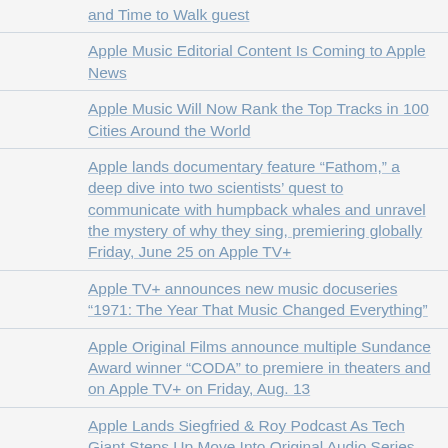and Time to Walk guest
Apple Music Editorial Content Is Coming to Apple News
Apple Music Will Now Rank the Top Tracks in 100 Cities Around the World
Apple lands documentary feature “Fathom,” a deep dive into two scientists’ quest to communicate with humpback whales and unravel the mystery of why they sing, premiering globally Friday, June 25 on Apple TV+
Apple TV+ announces new music docuseries “1971: The Year That Music Changed Everything”
Apple Original Films announce multiple Sundance Award winner “CODA” to premiere in theaters and on Apple TV+ on Friday, Aug. 13
Apple Lands Siegfried & Roy Podcast As Tech Giant Steps Up Move Into Original Audio Series
The Snoopy Show — Welcome to the Neighborhood | Apple TV+